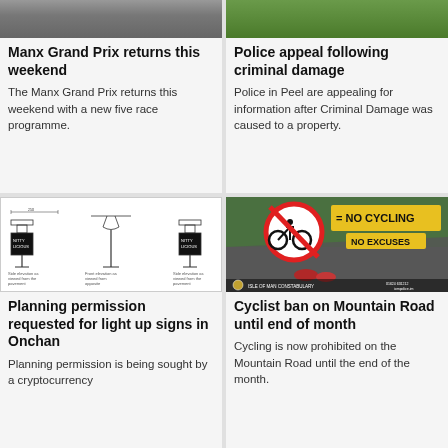[Figure (photo): Road/racing photo cropped at top, grey road surface]
Manx Grand Prix returns this weekend
The Manx Grand Prix returns this weekend with a new five race programme.
[Figure (photo): Person in yellow high-visibility vest, green background]
Police appeal following criminal damage
Police in Peel are appealing for information after Criminal Damage was caused to a property.
[Figure (engineering-diagram): Technical elevation drawings of illuminated signs showing side elevation as viewed from the pavement, front elevation as viewed from opposite, and side elevation as viewed from the pavement]
Planning permission requested for light up signs in Onchan
Planning permission is being sought by a cryptocurrency
[Figure (infographic): Isle of Man Constabulary cycling ban notice: bicycle with red prohibition circle = NO CYCLING, NO EXCUSES, motorcycles racing on Mountain Road]
Cyclist ban on Mountain Road until end of month
Cycling is now prohibited on the Mountain Road until the end of the month.